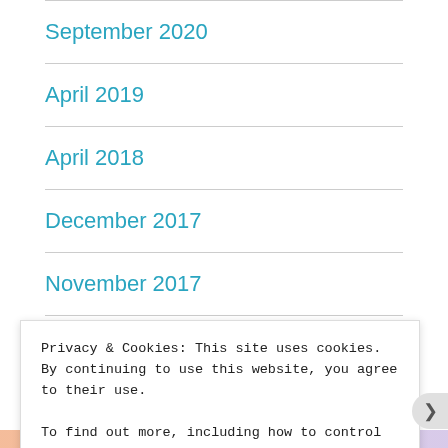September 2020
April 2019
April 2018
December 2017
November 2017
March 2017
Privacy & Cookies: This site uses cookies. By continuing to use this website, you agree to their use.
To find out more, including how to control cookies, see here: Cookie Policy
Close and accept